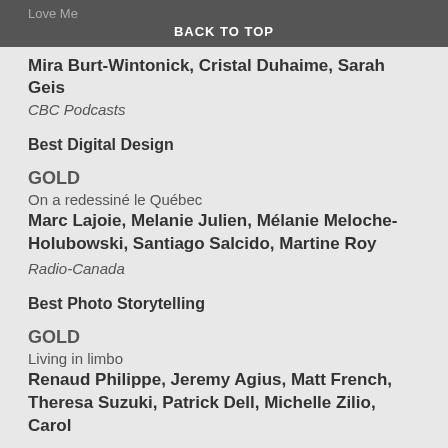Love Me
BACK TO TOP
Mira Burt-Wintonick, Cristal Duhaime, Sarah Geis
CBC Podcasts
Best Digital Design
GOLD
On a redessiné le Québec
Marc Lajoie, Melanie Julien, Mélanie Meloche-Holubowski, Santiago Salcido, Martine Roy
Radio-Canada
Best Photo Storytelling
GOLD
Living in limbo
Renaud Philippe, Jeremy Agius, Matt French, Theresa Suzuki, Patrick Dell, Michelle Zilio, Carol